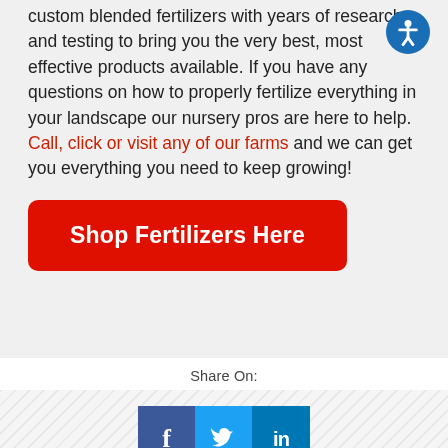custom blended fertilizers with years of research and testing to bring you the very best, most effective products available. If you have any questions on how to properly fertilize everything in your landscape our nursery pros are here to help. Call, click or visit any of our farms and we can get you everything you need to keep growing!
Shop Fertilizers Here
Share On:
[Figure (infographic): Social sharing icons: Facebook (blue), Twitter (light blue), LinkedIn (dark blue)]